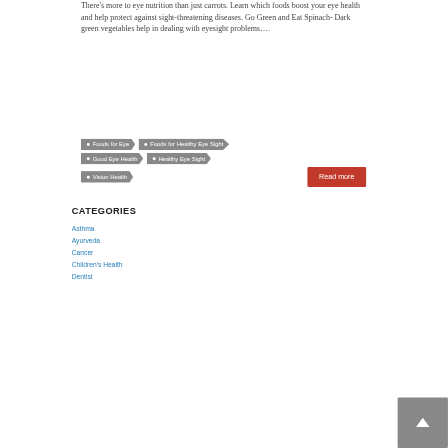There's more to eye nutrition than just carrots. Learn which foods boost your eye health and help protect against sight-threatening diseases. Go Green and Eat Spinach- Dark green vegetables help in dealing with eyesight problems….
Foods for Eye
Foods for Healthy Eye Sight
Good Eye Health
Healthy Eye Sight
Vision Health
Read more
CATEGORIES
Asthma
Ayurveda
Cancer
Children's Health
Dentist